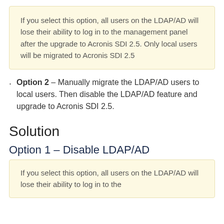If you select this option, all users on the LDAP/AD will lose their ability to log in to the management panel after the upgrade to Acronis SDI 2.5. Only local users will be migrated to Acronis SDI 2.5
Option 2 – Manually migrate the LDAP/AD users to local users. Then disable the LDAP/AD feature and upgrade to Acronis SDI 2.5.
Solution
Option 1 – Disable LDAP/AD
If you select this option, all users on the LDAP/AD will lose their ability to log in to the